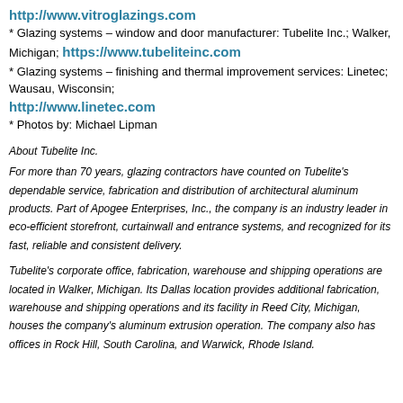http://www.vitroglazings.com
* Glazing systems – window and door manufacturer: Tubelite Inc.; Walker, Michigan; https://www.tubeliteinc.com
* Glazing systems – finishing and thermal improvement services: Linetec; Wausau, Wisconsin;
http://www.linetec.com
* Photos by: Michael Lipman
About Tubelite Inc.
For more than 70 years, glazing contractors have counted on Tubelite's dependable service, fabrication and distribution of architectural aluminum products. Part of Apogee Enterprises, Inc., the company is an industry leader in eco-efficient storefront, curtainwall and entrance systems, and recognized for its fast, reliable and consistent delivery.
Tubelite's corporate office, fabrication, warehouse and shipping operations are located in Walker, Michigan. Its Dallas location provides additional fabrication, warehouse and shipping operations and its facility in Reed City, Michigan, houses the company's aluminum extrusion operation. The company also has offices in Rock Hill, South Carolina, and Warwick, Rhode Island.